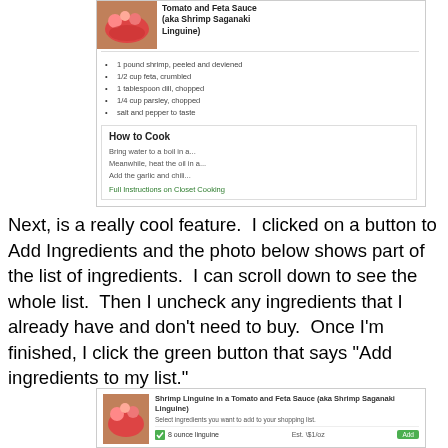[Figure (screenshot): Recipe card screenshot showing Shrimp Linguine in a Tomato and Feta Sauce (aka Shrimp Saganaki Linguine) with ingredients list and How to Cook section]
Next, is a really cool feature.  I clicked on a button to Add Ingredients and the photo below shows part of the list of ingredients.  I can scroll down to see the whole list.  Then I uncheck any ingredients that I already have and don't need to buy.  Once I'm finished, I click the green button that says "Add ingredients to my list."
[Figure (screenshot): Bottom screenshot showing Shrimp Linguine in a Tomato and Feta Sauce (aka Shrimp Saganaki Linguine) ingredient selection interface with 8 ounce linguine item and add to list button]